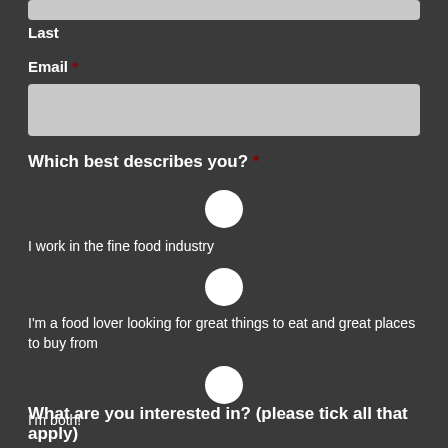Last
Email *
Which best describes you? *
I work in the fine food industry
I'm a food lover looking for great things to eat and great places to buy from
I'm both!
What are you interested in? (please tick all that apply)